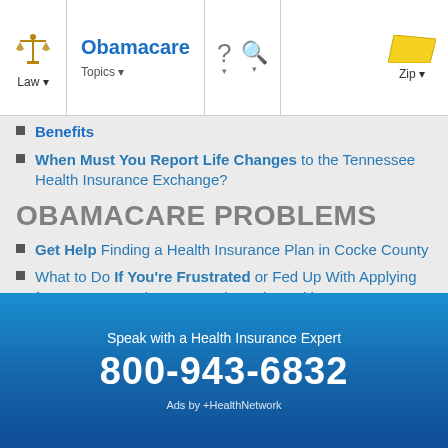Obamacare | Law | Topics | Zip
Benefits
When Must You Report Life Changes to the Tennessee Health Insurance Exchange?
OBAMACARE PROBLEMS
Get Help Finding a Health Insurance Plan in Cocke County
What to Do If You're Frustrated or Fed Up With Applying for Tennessee Obamacare Through Healthcare.gov
Avoiding Obamacare Scams in Tennessee
How an Insurance Agent or Broker Can Help You Sign Up for Obamacare in Tennessee
Speak with a Health Insurance Expert
800-943-6832
Ads by +HealthNetwork